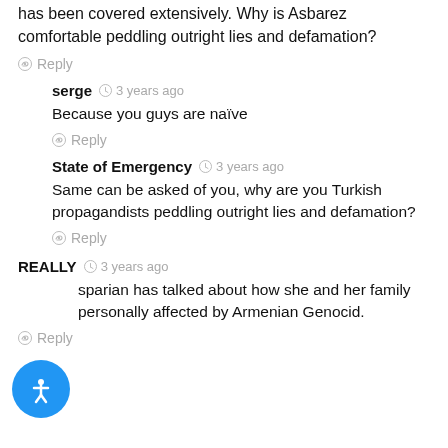has been covered extensively. Why is Asbarez comfortable peddling outright lies and defamation?
Reply
serge  3 years ago
Because you guys are naïve
Reply
State of Emergency  3 years ago
Same can be asked of you, why are you Turkish propagandists peddling outright lies and defamation?
Reply
REALLY  3 years ago
sparian has talked about how she and her family personally affected by Armenian Genocid.
Reply